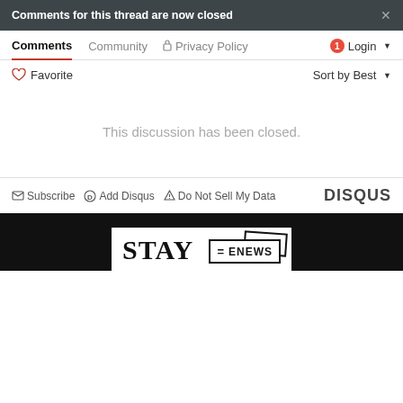Comments for this thread are now closed  ×
Comments  Community  🔒 Privacy Policy  1 Login ▾
♡ Favorite    Sort by Best ▾
This discussion has been closed.
✉ Subscribe  Ⓓ Add Disqus  ⚠ Do Not Sell My Data    DISQUS
[Figure (screenshot): Black background section with a white card showing 'STAY' text and an ENEWS box graphic]